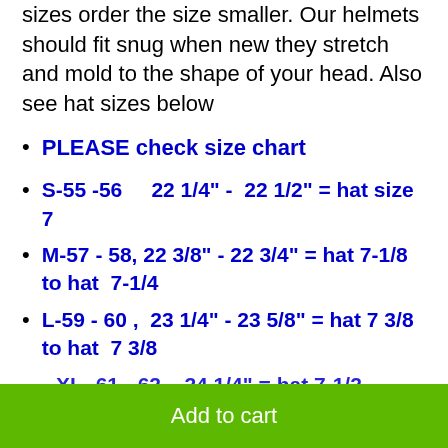sizes order the size smaller. Our helmets should fit snug when new they stretch and mold to the shape of your head. Also see hat sizes below
PLEASE check size chart
S-55 -56    22 1/4" -  22 1/2" = hat size 7
M-57 - 58, 22 3/8" - 22 3/4" = hat 7-1/8 to hat  7-1/4
L-59 - 60 ,  23 1/4" - 23 5/8" = hat 7 3/8 to hat  7 3/8
XL-61 - 62 , 24 1/4" = hat 7-1/2
Add to cart